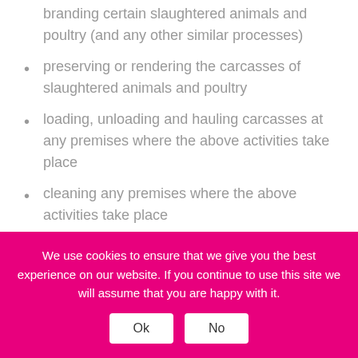branding certain slaughtered animals and poultry (and any other similar processes)
preserving or rendering the carcasses of slaughtered animals and poultry
loading, unloading and hauling carcasses at any premises where the above activities take place
cleaning any premises where the above activities take place
grading, transporting and determining the sex of day-old chicks
transporting someone else's animals, poultry, materials, machinery or other goods connected to any of the activities listed above (known as haulage for hire).
We use cookies to ensure that we give you the best experience on our website. If you continue to use this site we will assume that you are happy with it.